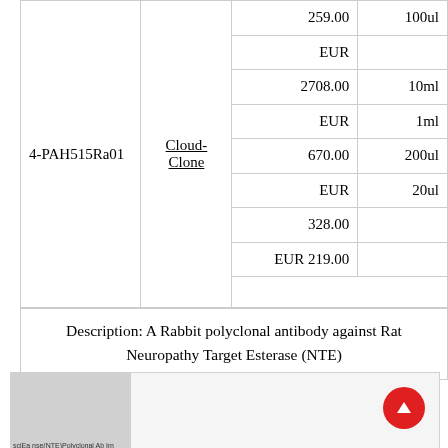| ID | Vendor | Price | Size |
| --- | --- | --- | --- |
| 4-PAH515Ra01 | Cloud-Clone | 259.00
EUR
2708.00
EUR
670.00
EUR
328.00
EUR 219.00 | 100ul
10ml
1ml
200ul
20ul |
Description: A Rabbit polyclonal antibody against Rat Neuropathy Target Esterase (NTE)
[Figure (other): Thumbnail image of a product (antibody) with scroll-to-top button]